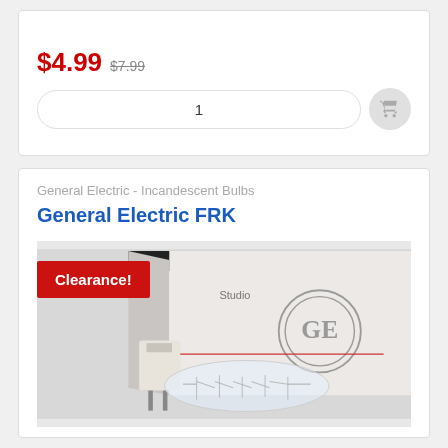$4.99  $7.99
1
General Electric - Incandescent Bulbs
General Electric FRK
[Figure (photo): Product photo showing a General Electric FRK incandescent bulb with its packaging box. A red Clearance! badge is overlaid on the top-left of the image.]